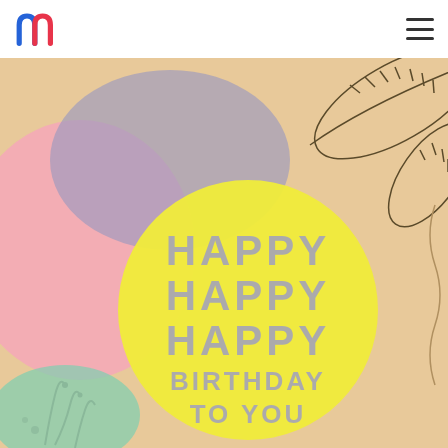[Figure (logo): Red and blue letter m logo in the top left corner]
[Figure (illustration): Birthday card illustration with colorful abstract shapes (pink, lavender, yellow circle, mint green), decorative leaf outlines in top right, and text reading HAPPY HAPPY HAPPY BIRTHDAY TO YOU in gray/lavender lettering on a peach background]